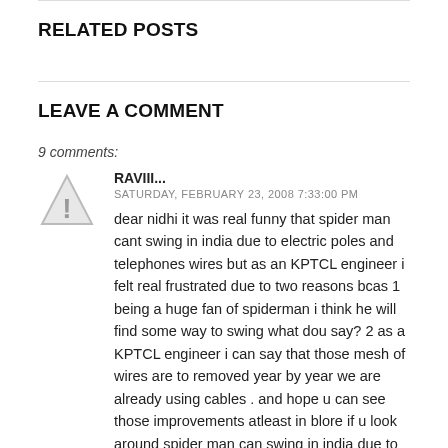RELATED POSTS
LEAVE A COMMENT
9 comments:
RAVIII...
SATURDAY, FEBRUARY 23, 2008 7:33:00 PM
dear nidhi it was real funny that spider man cant swing in india due to electric poles and telephones wires but as an KPTCL engineer i felt real frustrated due to two reasons bcas 1 being a huge fan of spiderman i think he will find some way to swing what dou say? 2 as a KPTCL engineer i can say that those mesh of wires are to removed year by year we are already using cables . and hope u can see those improvements atleast in blore if u look around spider man can swing in india due to large IT buildings which are comming up thanks due to bloom in IT which has increased the infrastructures